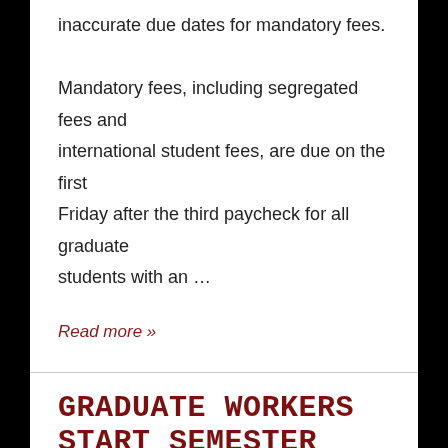inaccurate due dates for mandatory fees.

Mandatory fees, including segregated fees and international student fees, are due on the first Friday after the third paycheck for all graduate students with an …
Read more »
GRADUATE WORKERS START SEMESTER WITH SOLIDARITY RALLY
BY TAA-MADISON - POSTED ON SEPTEMBER 4, 2019